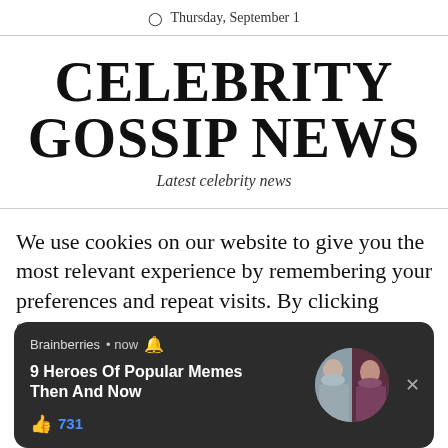Thursday, September 1
CELEBRITY GOSSIP NEWS
Latest celebrity news
We use cookies on our website to give you the most relevant experience by remembering your preferences and repeat visits. By clicking “Accept All”, However, you consent to the use of ALL the cookies. However, you may visit “Cookie Settings” to provide a controlled consent.
[Figure (screenshot): Push notification popup from Brainberries showing '9 Heroes Of Popular Memes Then And Now' with 731 likes and thumbnail images of two women]
C